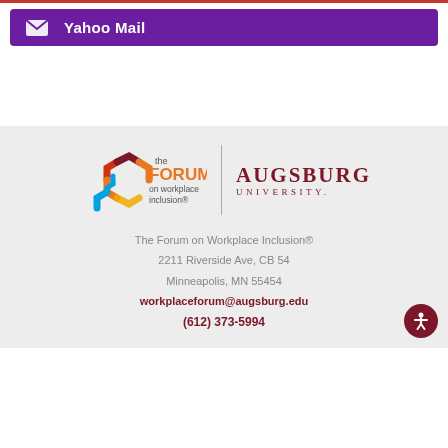[Figure (screenshot): Yahoo Mail button with purple background and envelope icon]
[Figure (logo): The Forum on Workplace Inclusion logo with colorful hexagon and Augsburg University logo side by side]
The Forum on Workplace Inclusion®
2211 Riverside Ave, CB 54
Minneapolis, MN 55454
workplaceforum@augsburg.edu
(612) 373-5994